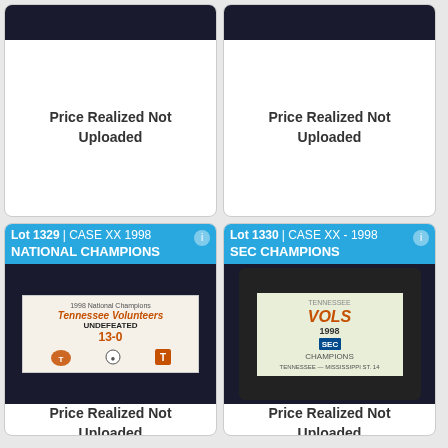[Figure (photo): Top-left card showing partial photo of item at top, then white space with 'Price Realized Not Uploaded' text. No lot header visible.]
Price Realized Not Uploaded
[Figure (photo): Top-right card showing partial photo of item at top, then white space with 'Price Realized Not Uploaded' text. No lot header visible.]
Price Realized Not Uploaded
[Figure (photo): Lot 1329 - CASE XX 1998 NATIONAL CHAMPIONS. Photo of a commemorative item showing '1998 National Champions Tennessee Volunteers UNDEFEATED 13-0']
Price Realized Not Uploaded
[Figure (photo): Lot 1330 - CASE XX - 1998 SEC CHAMPIONS. Photo of a commemorative item showing Tennessee Vols 1998 SEC Champions ticket/card]
Price Realized Not Uploaded